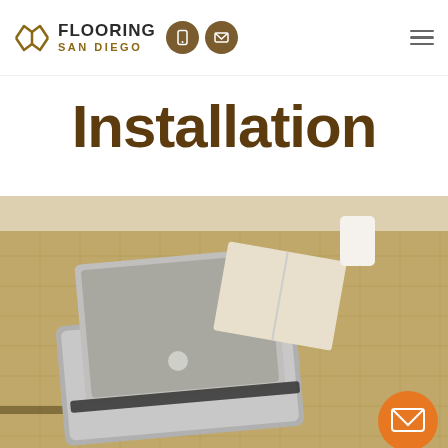Flooring San Diego
Installation
[Figure (photo): A MacBook laptop open on a woven jute rug, with an open book and a white cup in the background on a light wood floor.]